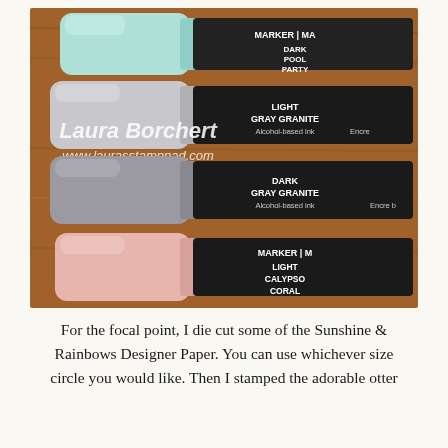[Figure (photo): Close-up photo of four Stampin' Up! markers/pens lying horizontally on a wooden surface. From top to bottom: a mint/teal colored marker labeled 'DARK POOL PARTY', a light gray marker labeled 'LIGHT GRAY GRANITE Alcohol-based ink', a darker gray marker labeled 'DARK GRAY GRANITE Alcohol-based ink', and a pink marker labeled 'LIGHT CALYPSO CORAL'. The markers' caps are on the left, bodies extending to the right showing black labels. Watermark overlay reads 'Laura Borchert www.laurasstamppad.com Images © Stampin' Up!']
For the focal point, I die cut some of the Sunshine & Rainbows Designer Paper. You can use whichever size circle you would like. Then I stamped the adorable otter